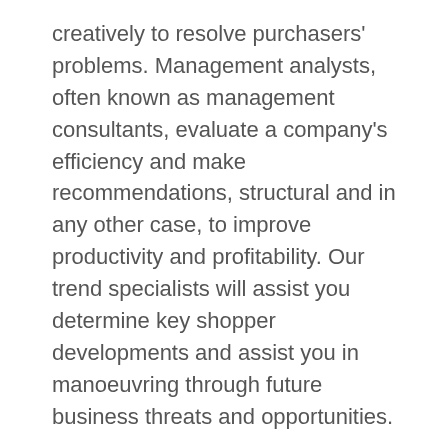creatively to resolve purchasers' problems. Management analysts, often known as management consultants, evaluate a company's efficiency and make recommendations, structural and in any other case, to improve productivity and profitability. Our trend specialists will assist you determine key shopper developments and assist you in manoeuvring through future business threats and opportunities.
Business owners and trade consultants weigh in on what emerging trends they think present the greatest alternatives for entrepreneurs. You could create mounted worth packages emigrate small companies to cloud-based mostly